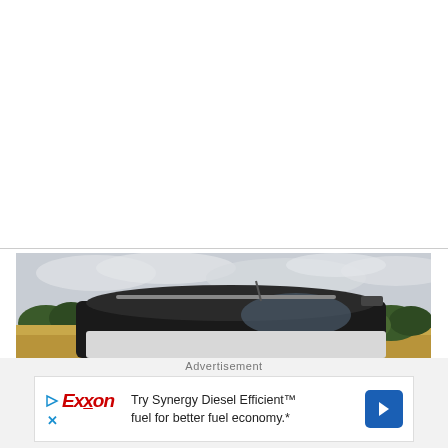[Figure (photo): Partial view of a car roof and rear window, photographed from behind/above, with a rural countryside scene in the background — golden fields and trees under a cloudy sky.]
Advertisement
[Figure (infographic): Exxon advertisement banner. Shows the Exxon logo (red stylized text with interlocked XX) alongside text: 'Try Synergy Diesel Efficient™ fuel for better fuel economy.*' and a blue navigation arrow icon on the right.]